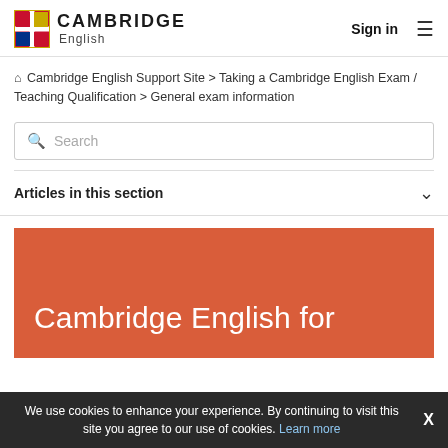CAMBRIDGE English — Sign in
🏠 Cambridge English Support Site > Taking a Cambridge English Exam / Teaching Qualification > General exam information
Search
Articles in this section
Cambridge English for
We use cookies to enhance your experience. By continuing to visit this site you agree to our use of cookies. Learn more